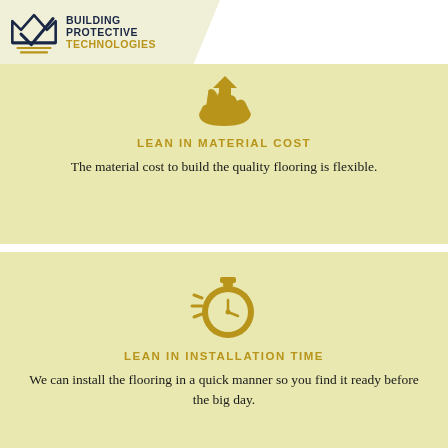[Figure (logo): Building Protective Technologies logo with crown/envelope icon and company name in navy and gold]
[Figure (illustration): Gold hand icon holding a coin/item, representing lean material cost]
LEAN IN MATERIAL COST
The material cost to build the quality flooring is flexible.
[Figure (illustration): Gold stopwatch/timer icon with motion lines, representing lean installation time]
LEAN IN INSTALLATION TIME
We can install the flooring in a quick manner so you find it ready before the big day.